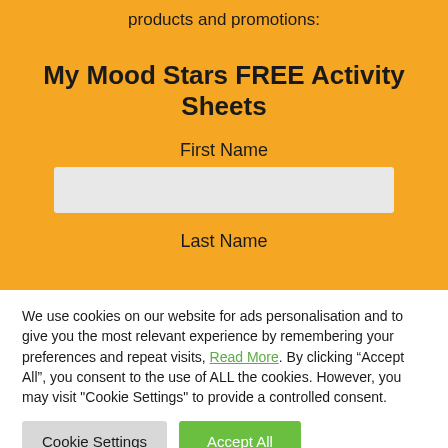products and promotions:
My Mood Stars FREE Activity Sheets
First Name
Last Name
We use cookies on our website for ads personalisation and to give you the most relevant experience by remembering your preferences and repeat visits, Read More. By clicking “Accept All”, you consent to the use of ALL the cookies. However, you may visit "Cookie Settings" to provide a controlled consent.
Cookie Settings
Accept All